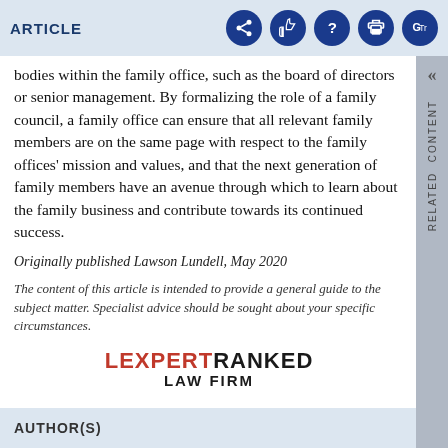ARTICLE
bodies within the family office, such as the board of directors or senior management. By formalizing the role of a family council, a family office can ensure that all relevant family members are on the same page with respect to the family offices' mission and values, and that the next generation of family members have an avenue through which to learn about the family business and contribute towards its continued success.
Originally published Lawson Lundell, May 2020
The content of this article is intended to provide a general guide to the subject matter. Specialist advice should be sought about your specific circumstances.
[Figure (logo): LEXPERT RANKED LAW FIRM logo]
AUTHOR(S)